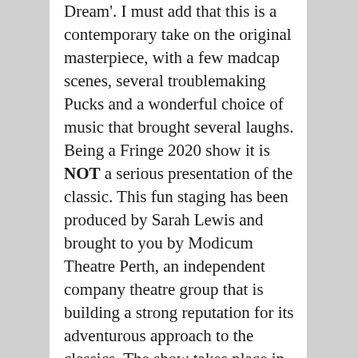Dream'. I must add that this is a contemporary take on the original masterpiece, with a few madcap scenes, several troublemaking Pucks and a wonderful choice of music that brought several laughs. Being a Fringe 2020 show it is NOT a serious presentation of the classic. This fun staging has been produced by Sarah Lewis and brought to you by Modicum Theatre Perth, an independent company theatre group that is building a strong reputation for its adventurous approach to the classics. The show takes place in the old hospital's Kitchen Building at the Heathcote Cultural Precinct, 60 Duncraig Road in Applecross. This intimate production is not simply 'in the round' but within the audience. This most